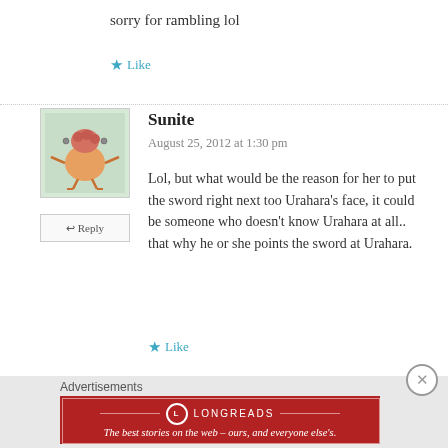sorry for rambling lol
Like
Sunite
August 25, 2012 at 1:30 pm
Lol, but what would be the reason for her to put the sword right next too Urahara's face, it could be someone who doesn't know Urahara at all.. that why he or she points the sword at Urahara.
Like
Advertisements
[Figure (illustration): Longreads advertisement banner with logo and tagline: The best stories on the web - ours, and everyone else's.]